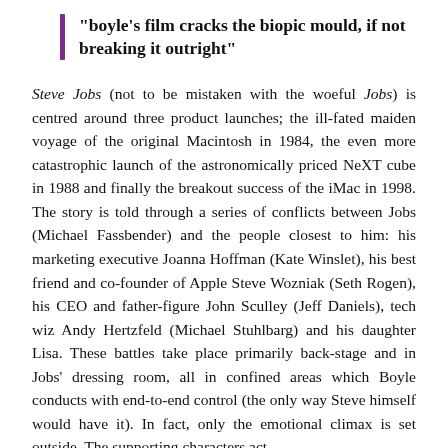"boyle's film cracks the biopic mould, if not breaking it outright"
Steve Jobs (not to be mistaken with the woeful Jobs) is centred around three product launches; the ill-fated maiden voyage of the original Macintosh in 1984, the even more catastrophic launch of the astronomically priced NeXT cube in 1988 and finally the breakout success of the iMac in 1998. The story is told through a series of conflicts between Jobs (Michael Fassbender) and the people closest to him: his marketing executive Joanna Hoffman (Kate Winslet), his best friend and co-founder of Apple Steve Wozniak (Seth Rogen), his CEO and father-figure John Sculley (Jeff Daniels), tech wiz Andy Hertzfeld (Michael Stuhlbarg) and his daughter Lisa. These battles take place primarily back-stage and in Jobs' dressing room, all in confined areas which Boyle conducts with end-to-end control (the only way Steve himself would have it). In fact, only the emotional climax is set outside. The supporting characters act